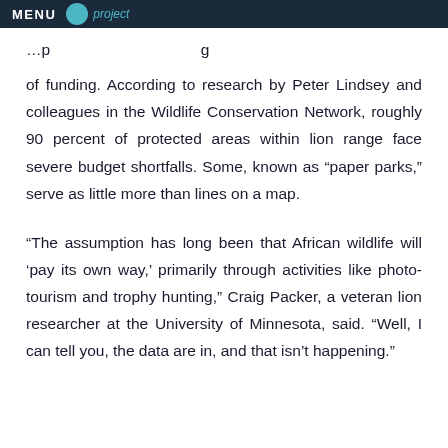MENU project
of funding. According to research by Peter Lindsey and colleagues in the Wildlife Conservation Network, roughly 90 percent of protected areas within lion range face severe budget shortfalls. Some, known as “paper parks,” serve as little more than lines on a map.
“The assumption has long been that African wildlife will ‘pay its own way,’ primarily through activities like photo-tourism and trophy hunting,” Craig Packer, a veteran lion researcher at the University of Minnesota, said. “Well, I can tell you, the data are in, and that isn’t happening.”